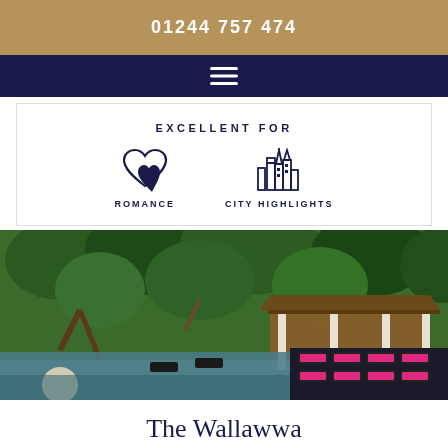01244 757 474
[Figure (screenshot): Navigation/hamburger menu icon on dark navy background]
EXCELLENT FOR
[Figure (illustration): Romance icon (two overlapping hearts) and City Highlights icon (skyline/buildings silhouette), both in navy blue]
ROMANCE    CITY HIGHLIGHTS
[Figure (photo): Outdoor pool area of The Wallawwa hotel, surrounded by tropical trees and greenery, with a white-columned pavilion and lounge chairs with pink/magenta cushions along the pool edge]
The Wallawwa